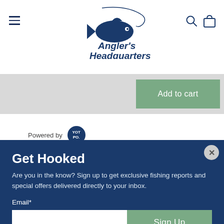[Figure (logo): Angler's Headquarters logo with fish illustration and italic bold text]
Add to cart
Powered by YOTPO.
Get Hooked
Are you in the know? Sign up to get exclusive fishing reports and special offers delivered directly to your inbox.
Email*
Sign Up